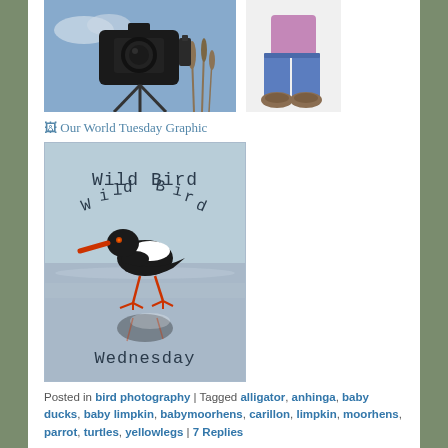[Figure (photo): Photo of a camera on a tripod at the beach with blue sky and reeds in background]
[Figure (illustration): Cartoon illustration of a person from waist down, wearing pink top, blue pants, brown shoes]
[Figure (other): Broken image placeholder: Our World Tuesday Graphic]
[Figure (photo): Wild Bird Wednesday badge image showing a black and white oystercatcher bird walking on wet sand with its reflection, text reads Wild Bird Wednesday]
Posted in bird photography | Tagged alligator, anhinga, baby ducks, baby limpkin, babymoorhens, carillon, limpkin, moorhens, parrot, turtles, yellowlegs | 7 Replies